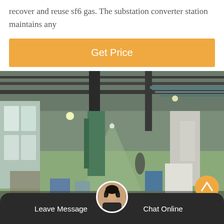recover and reuse sf6 gas. The substation converter station maintains any
Get Price
[Figure (photo): Interior of an industrial factory/warehouse with green-painted floor, large machinery and equipment, overhead lighting, and storage items along the sides.]
Leave Message    Chat Online